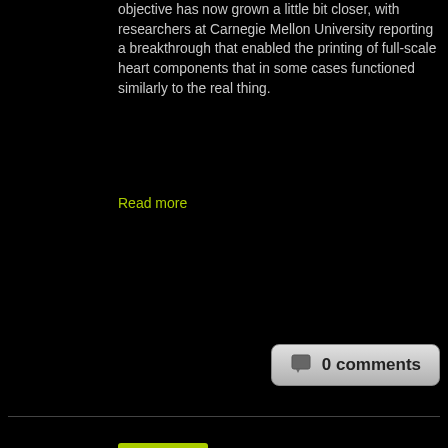objective has now grown a little bit closer, with researchers at Carnegie Mellon University reporting a breakthrough that enabled the printing of full-scale heart components that in some cases functioned similarly to the real thing.
Read more
0 comments
Aug 2, 2019
3D printing the human heart
Posted by Paul Battista in categories: 3D printing, bioengineering, bioprinting, biotech/medical
[Figure (photo): Medical illustration showing 3D-printed blood vessel structures in red against a dark background, with a central image of printed tissue/heart components]